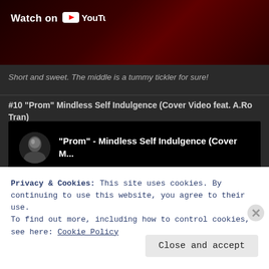[Figure (screenshot): YouTube video thumbnail with dark red background showing 'Watch on YouTube' badge]
Short and sweet. The middle is a tummy tickler for sure!
#10 “Prom” Mindless Self Indulgence (Cover Video feat. A.Ro Tran)
[Figure (screenshot): YouTube embedded video player showing '"Prom" - Mindless Self Indulgence (Cover M...' with user avatar on black background]
Privacy & Cookies: This site uses cookies. By continuing to use this website, you agree to their use.
To find out more, including how to control cookies, see here: Cookie Policy